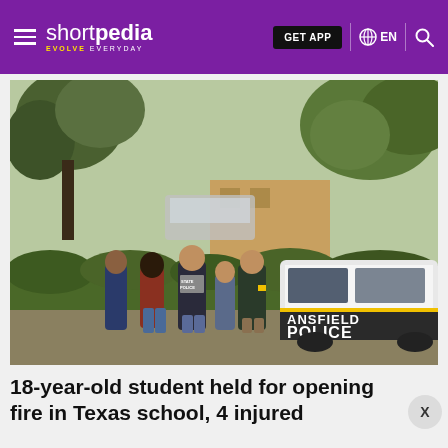shortpedia EVOLVE EVERYDAY | GET APP | EN
[Figure (photo): Police officers and state police personnel standing near a Mansfield Police vehicle outside a school with chain-link fencing and trees in the background.]
18-year-old student held for opening fire in Texas school, 4 injured